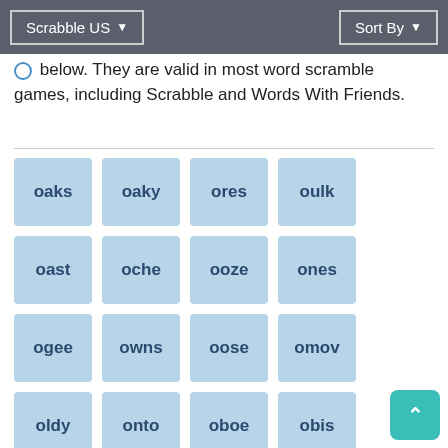Scrabble US ▾   Sort By ▾
O below. They are valid in most word scramble games, including Scrabble and Words With Friends.
oaks
oaky
ores
oulk
oast
oche
ooze
ones
ogee
owns
oose
omov
oldy
onto
oboe
obis
oozy
oath
obol
ouph